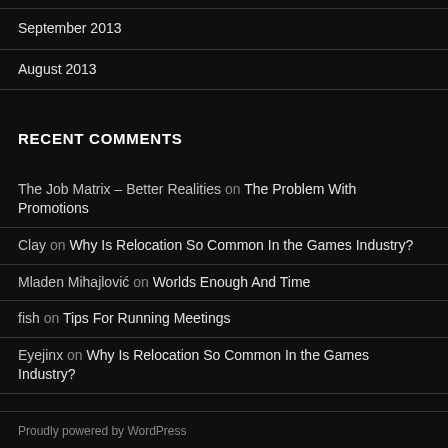September 2013
August 2013
RECENT COMMENTS
The Job Matrix – Better Realities on The Problem With Promotions
Clay on Why Is Relocation So Common In the Games Industry?
Mladen Mihajlović on Worlds Enough And Time
fish on Tips For Running Meetings
Eyejinx on Why Is Relocation So Common In the Games Industry?
Proudly powered by WordPress